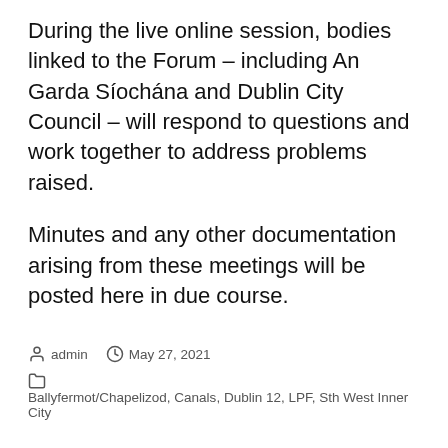During the live online session, bodies linked to the Forum – including An Garda Síochána and Dublin City Council – will respond to questions and work together to address problems raised.
Minutes and any other documentation arising from these meetings will be posted here in due course.
admin | May 27, 2021 | Ballyfermot/Chapelizod, Canals, Dublin 12, LPF, Sth West Inner City